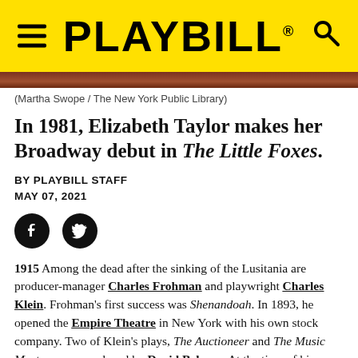PLAYBILL
(Martha Swope / The New York Public Library)
In 1981, Elizabeth Taylor makes her Broadway debut in The Little Foxes.
BY PLAYBILL STAFF
MAY 07, 2021
[Figure (other): Facebook and Twitter social sharing icons]
1915 Among the dead after the sinking of the Lusitania are producer-manager Charles Frohman and playwright Charles Klein. Frohman's first success was Shenandoah. In 1893, he opened the Empire Theatre in New York with his own stock company. Two of Klein's plays, The Auctioneer and The Music Master, were produced by David Belasco. At the time of his death, Klein was a play reader for Frohman